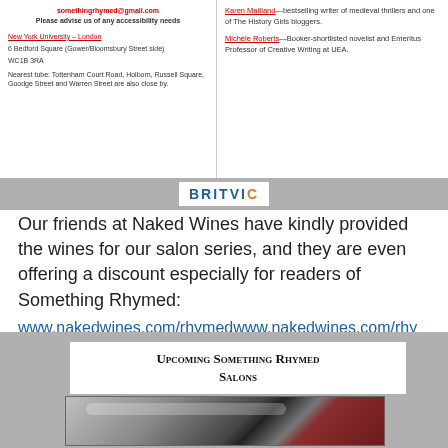[Figure (screenshot): Top portion of a webpage/email showing venue details on left panel and author bios on right panel, with a Britvic logo bar at the bottom of the image block]
Our friends at Naked Wines have kindly provided the wines for our salon series, and they are even offering a discount especially for readers of Something Rhymed:
www.nakedwines.com/rhymedwww.nakedwines.com/rhymed
[Figure (screenshot): Gray background section with white box titled 'Upcoming Something Rhymed Salons' and a photo of a fountain pen on a red surface below it]